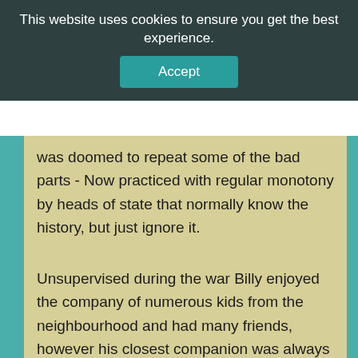[Figure (screenshot): Cookie consent banner with dark teal/grey background. Text reads: 'This website uses cookies to ensure you get the best experience.' with an 'Accept' button below in teal color.]
was doomed to repeat some of the bad parts - Now practiced with regular monotony by heads of state that normally know the history, but just ignore it.
Unsupervised during the war Billy enjoyed the company of numerous kids from the neighbourhood and had many friends, however his closest companion was always trouble, which just followed him around all the time. Climbing over fences, he was always the one to tear his pants and cuts and bruises were a way of life. He was a menace with fireworks